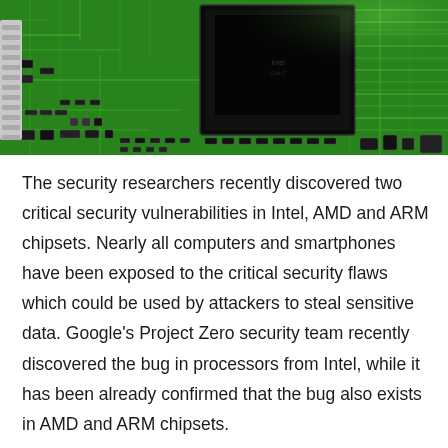[Figure (photo): Close-up photograph of a green printed circuit board with a large black CPU/processor chip and various electronic components]
The security researchers recently discovered two critical security vulnerabilities in Intel, AMD and ARM chipsets. Nearly all computers and smartphones have been exposed to the critical security flaws which could be used by attackers to steal sensitive data. Google's Project Zero security team recently discovered the bug in processors from Intel, while it has been already confirmed that the bug also exists in AMD and ARM chipsets.